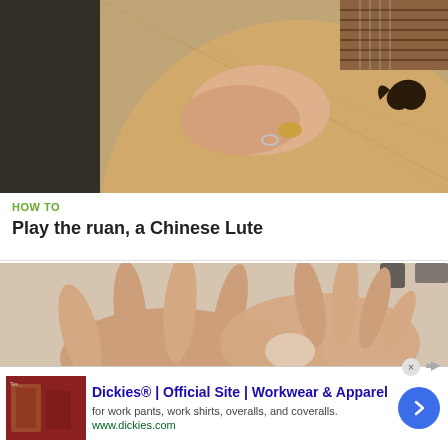[Figure (photo): Close-up photo of a person's hands playing a ruan (Chinese lute), showing the round wooden body of the instrument with a bird-shaped soundhole cutout and frets visible at top.]
HOW TO
Play the ruan, a Chinese Lute
[Figure (photo): Close-up photo of two hands, showing fingertips touching against a light background, appearing to demonstrate a hand technique.]
Dickies® | Official Site | Workwear & Apparel
for work pants, work shirts, overalls, and coveralls.
www.dickies.com